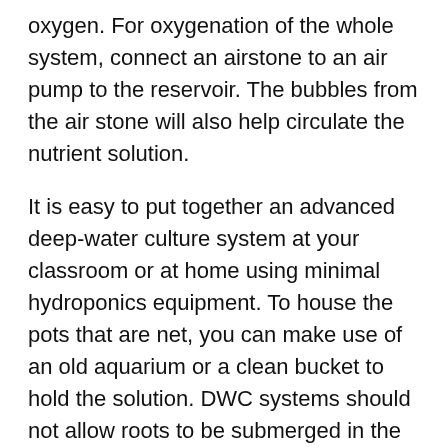oxygen. For oxygenation of the whole system, connect an airstone to an air pump to the reservoir. The bubbles from the air stone will also help circulate the nutrient solution.
It is easy to put together an advanced deep-water culture system at your classroom or at home using minimal hydroponics equipment. To house the pots that are net, you can make use of an old aquarium or a clean bucket to hold the solution. DWC systems should not allow roots to be submerged in the solution. It is not allowed to submerge stems or vegetation. It is possible to keep approximately one inch and a quarter of the roots above the waterline. The air bubbles will break off the surface and splash down onto the exposed roots, so they will not be in danger of drying out.